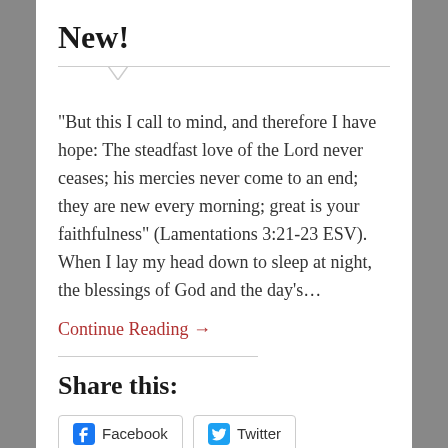New!
"But this I call to mind, and therefore I have hope: The steadfast love of the Lord never ceases; his mercies never come to an end; they are new every morning; great is your faithfulness" (Lamentations 3:21-23 ESV). When I lay my head down to sleep at night, the blessings of God and the day's...
Continue Reading →
Share this:
Facebook   Twitter